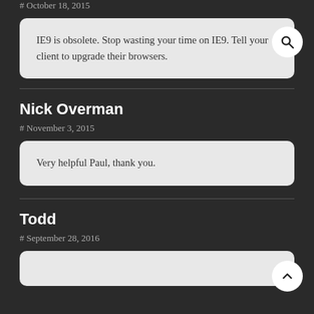# October 18, 2015
IE9 is obsolete. Stop wasting your time on IE9. Tell your client to upgrade their browsers.
Nick Overman
# November 3, 2015
Very helpful Paul, thank you.
Todd
# September 28, 2016